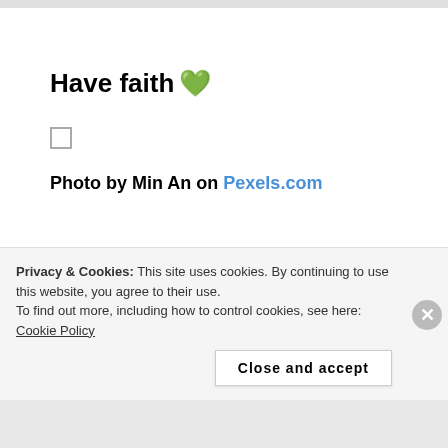Have faith 💚
Photo by Min An on Pexels.com
[Figure (illustration): Fandom advertisement banner with gradient pink-to-purple background, white doodles, a sailboat illustration, skull, dice, and large white FANDOM ON text]
Privacy & Cookies: This site uses cookies. By continuing to use this website, you agree to their use.
To find out more, including how to control cookies, see here: Cookie Policy
Close and accept